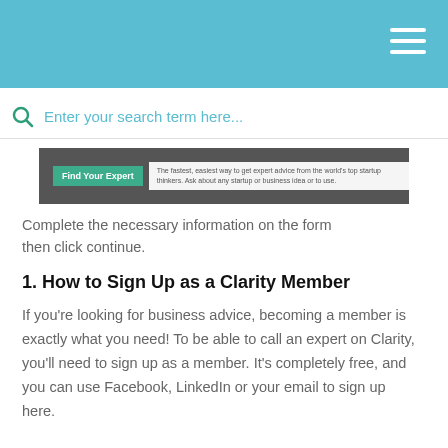[Figure (screenshot): Website screenshot showing a header bar with hamburger menu, search bar with placeholder 'Enter your search term here...', and a hero image with a 'Find Your Expert' green button and some text.]
Complete the necessary information on the form then click continue.
1. How to Sign Up as a Clarity Member
If you're looking for business advice, becoming a member is exactly what you need! To be able to call an expert on Clarity, you'll need to sign up as a member. It's completely free, and you can use Facebook, LinkedIn or your email to sign up here.